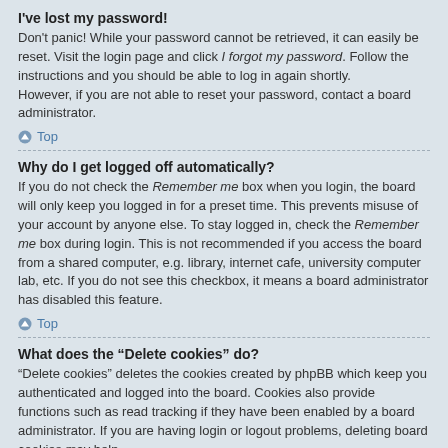I've lost my password!
Don't panic! While your password cannot be retrieved, it can easily be reset. Visit the login page and click I forgot my password. Follow the instructions and you should be able to log in again shortly.
However, if you are not able to reset your password, contact a board administrator.
Top
Why do I get logged off automatically?
If you do not check the Remember me box when you login, the board will only keep you logged in for a preset time. This prevents misuse of your account by anyone else. To stay logged in, check the Remember me box during login. This is not recommended if you access the board from a shared computer, e.g. library, internet cafe, university computer lab, etc. If you do not see this checkbox, it means a board administrator has disabled this feature.
Top
What does the “Delete cookies” do?
“Delete cookies” deletes the cookies created by phpBB which keep you authenticated and logged into the board. Cookies also provide functions such as read tracking if they have been enabled by a board administrator. If you are having login or logout problems, deleting board cookies may help.
Top